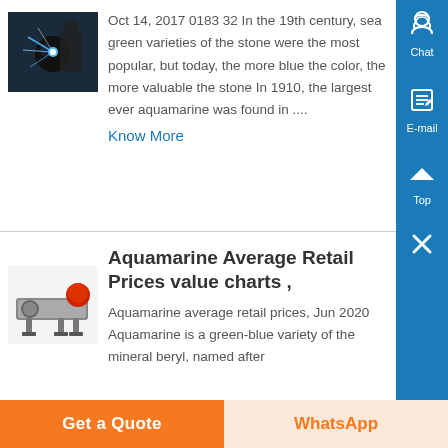[Figure (photo): Photo of a welder working with bright blue sparks]
Oct 14, 2017 0183 32 In the 19th century, sea green varieties of the stone were the most popular, but today, the more blue the color, the more valuable the stone In 1910, the largest ever aquamarine was found in ....
Know More
[Figure (photo): Photo of an industrial machine (magnetic separator)]
Aquamarine Average Retail Prices value charts ,
Aquamarine average retail prices, Jun 2020 Aquamarine is a green-blue variety of the mineral beryl, named after
Get a Quote
WhatsApp